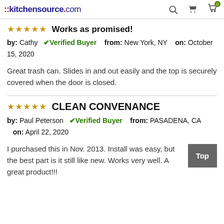::kitchensource.com
Works as promised!
by: Cathy ✓Verified Buyer from: New York, NY on: October 15, 2020
Great trash can. Slides in and out easily and the top is securely covered when the door is closed.
CLEAN CONVENANCE
by: Paul Peterson ✓Verified Buyer from: PASADENA, CA on: April 22, 2020
I purchased this in Nov. 2013. Install was easy, but the best part is it still like new. Works very well. A great product!!!